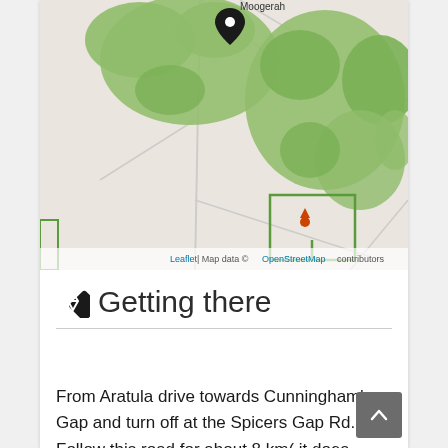[Figure (map): OpenStreetMap showing area around Moogerah with green vegetation areas, roads, and a location marker pin. A small red marker is visible in a rectangular green area to the right. Map attribution shows Leaflet and OpenStreetMap.]
Leaflet | Map data © OpenStreetMap contributors
Getting there
From Aratula drive towards Cunningham's Gap and turn off at the Spicers Gap Rd. Follow this road for about 8 km( it does become dirt for a while) then turn into Mount Greville Rd find the start after about 800m driving or so along Mount Greville Rd.